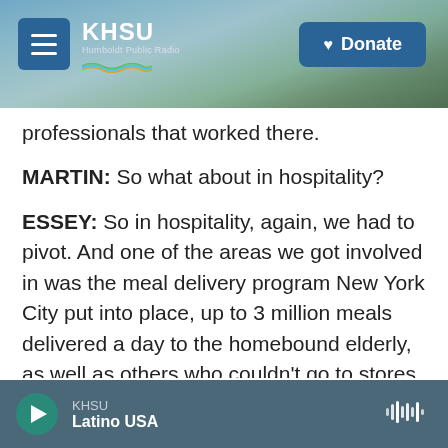KHSU | Donate
professionals that worked there.
MARTIN: So what about in hospitality?
ESSEY: So in hospitality, again, we had to pivot. And one of the areas we got involved in was the meal delivery program New York City put into place, up to 3 million meals delivered a day to the homebound elderly, as well as others who couldn't go to stores to get their own meals to cook for themselves. And so we moved hospitality workers behind the scenes in helping to prepare those meals. These are positions that never existed before, but at least
KHSU | Latino USA